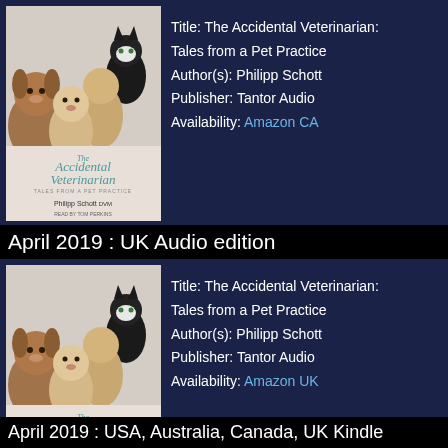[Figure (illustration): Book cover of The Accidental Veterinarian: Tales from a Pet Practice, showing dogs and cats, authored by Philipp Schott DVM, Read by Tom Perkins, Publisher Tantor Audio]
Title: The Accidental Veterinarian: Tales from a Pet Practice
Author(s): Philipp Schott
Publisher: Tantor Audio
Availability: Amazon CA
April 2019 : UK Audio edition
[Figure (illustration): Book cover of The Accidental Veterinarian: Tales from a Pet Practice, showing dogs and cats, authored by Philipp Schott DVM, Read by Tom Perkins, Publisher Tantor Audio]
Title: The Accidental Veterinarian: Tales from a Pet Practice
Author(s): Philipp Schott
Publisher: Tantor Audio
Availability: Amazon UK
Kindle Editions
April 2019 : USA, Australia, Canada, UK Kindle